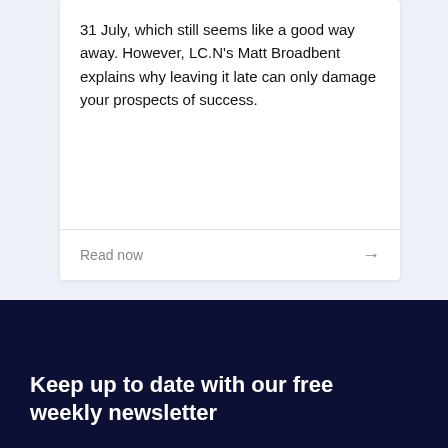31 July, which still seems like a good way away. However, LC.N's Matt Broadbent explains why leaving it late can only damage your prospects of success.
Read now
1 / 8
Keep up to date with our free weekly newsletter